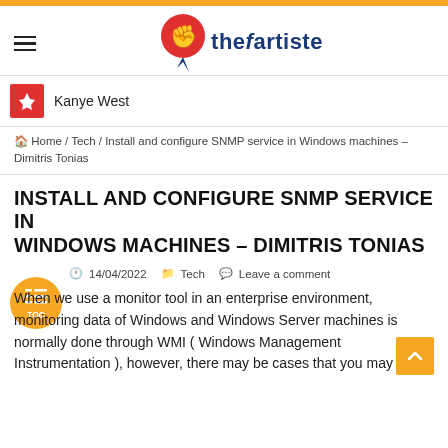thefartiste
Kanye West
Home / Tech / Install and configure SNMP service in Windows machines – Dimitris Tonias
INSTALL AND CONFIGURE SNMP SERVICE IN WINDOWS MACHINES – DIMITRIS TONIAS
14/04/2022  Tech  Leave a comment
When we use a monitor tool in an enterprise environment, monitoring data of Windows and Windows Server machines is normally done through WMI ( Windows Management Instrumentation ), however, there may be cases that you may need